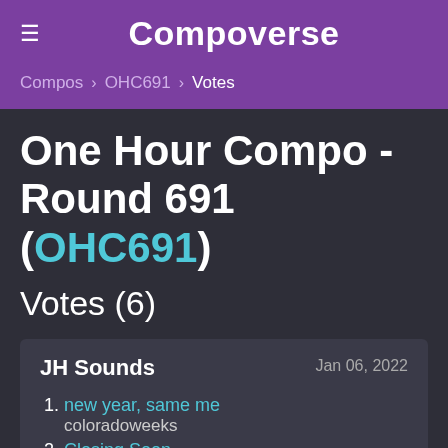Compoverse
Compos > OHC691 > Votes
One Hour Compo - Round 691 (OHC691)
Votes (6)
JH Sounds — Jan 06, 2022
1. new year, same me — coloradoweeks
2. Closing Soon